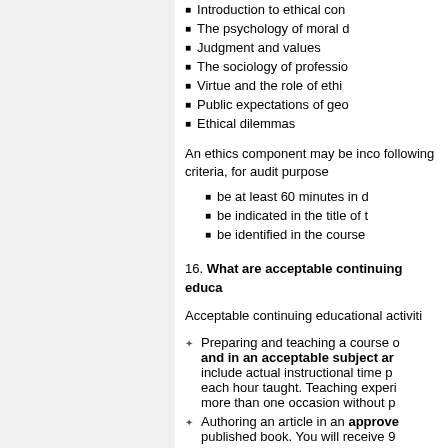Introduction to ethical co...
The psychology of moral d...
Judgment and values
The sociology of professio...
Virtue and the role of ethi...
Public expectations of geo...
Ethical dilemmas
An ethics component may be inco... following criteria, for audit purpose...
be at least 60 minutes in d...
be indicated in the title of t...
be identified in the course...
16. What are acceptable continuing educa...
Acceptable continuing educational activiti...
Preparing and teaching a course ... and in an acceptable subject ar... include actual instructional time p... each hour taught. Teaching exper... more than one occasion without p...
Authoring an article in an approved... published book. You will receive 9...